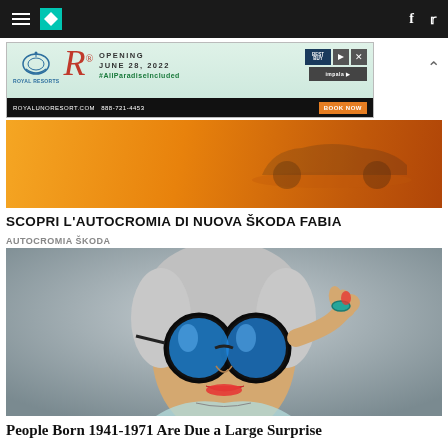HuffPost navigation bar with hamburger menu, logo, Facebook and Twitter icons
[Figure (screenshot): Advertisement banner for Royal Resorts - Opening June 28, 2022 #AllParadiseIncluded, royalunoresort.com 888-721-4453, Book Now]
[Figure (photo): Orange background with partial car visible - Skoda Fabia advertisement]
SCOPRI L'AUTOCROMIA DI NUOVA ŠKODA FABIA
AUTOCROMIA ŠKODA
[Figure (photo): Elderly woman with stylish round blue mirrored sunglasses and turquoise ring, holding glasses up with red-painted fingernails against grey background]
People Born 1941-1971 Are Due a Large Surprise